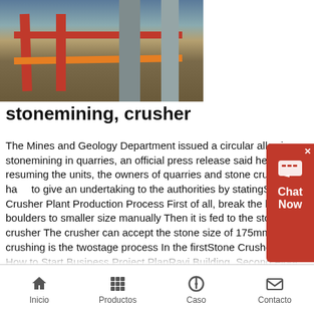[Figure (photo): Construction site photo showing red scaffolding/steel beams and concrete pillars at a mining or crusher plant]
stonemining, crusher
The Mines and Geology Department issued a circular allowing stonemining in quarries, an official press release said hereFor resuming the units, the owners of quarries and stone crushers have to give an undertaking to the authorities by statingStone Crusher Plant Production Process First of all, break the big stone boulders to smaller size manually Then it is fed to the stone crusher The crusher can accept the stone size of 175mm Stone crushing is the twostage process In the firstStone Crusher Plant How to Start Business Project PlanRavi Building, Second Floor, Above Bank of India, L B Shastri Road, Navi Peth, Near Alka Talkies, Pune, Maharashtra, India +91 mineralwaterpune@gmail Other Reference Stuff Articles on Mineral Water PlantMineral Water Project Information... Mineral Water Plant
Inicio   Productos   Caso   Contacto